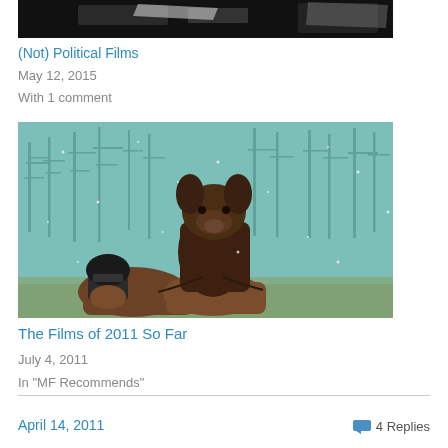[Figure (photo): Black and white partial image at top of page, partially cropped]
(Not) Political Films
May 12, 2015
With 1 comment
[Figure (photo): Movie still showing a figure wearing a bear/dog costume/head riding a horse in a wintry outdoor scene with bare trees and snow]
The Films of 2011 So Far
July 4, 2011
In "MF Recommends"
April 14, 2011
4 Replies